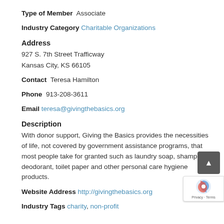Type of Member   Associate
Industry Category   Charitable Organizations
Address
927 S. 7th Street Trafficway
Kansas City, KS 66105
Contact   Teresa Hamilton
Phone   913-208-3611
Email   teresa@givingthebasics.org
Description
With donor support, Giving the Basics provides the necessities of life, not covered by government assistance programs, that most people take for granted such as laundry soap, shampoo, deodorant, toilet paper and other personal care hygiene products.
Website Address   http://givingthebasics.org
Industry Tags   charity, non-profit